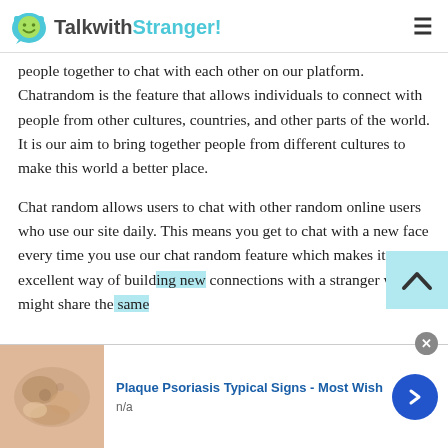TalkwithStranger!
people together to chat with each other on our platform. Chatrandom is the feature that allows individuals to connect with people from other cultures, countries, and other parts of the world. It is our aim to bring together people from different cultures to make this world a better place.
Chat random allows users to chat with other random online users who use our site daily. This means you get to chat with a new face every time you use our chat random feature which makes it an excellent way of building new connections with a stranger who might share the same
[Figure (screenshot): Scroll-to-top button overlay with light blue background and upward chevron arrow]
[Figure (infographic): Advertisement banner: Plaque Psoriasis Typical Signs - Most Wish, with image of skin condition and n/a label, plus navigation arrow button]